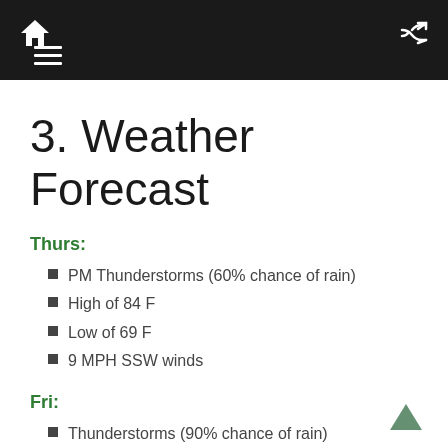Weather Forecast page with navigation bar
3. Weather Forecast
Thurs:
PM Thunderstorms (60% chance of rain)
High of 84 F
Low of 69 F
9 MPH SSW winds
Fri:
Thunderstorms (90% chance of rain)
High of 83 F
Low of 60 F
15 MPH SSW winds